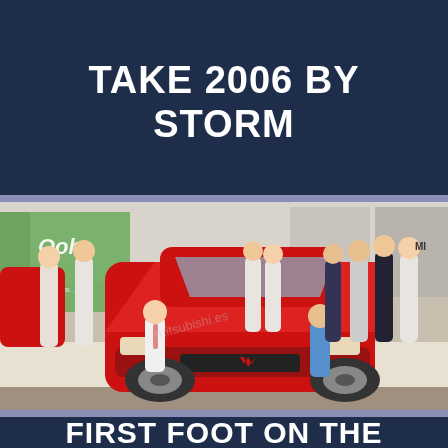TAKE 2006 BY STORM
[Figure (photo): Group of young men posing with a red Mitsubishi Lancer Evolution sports car in a car dealership showroom. A green 'Ooh' banner is visible in the background. Two people kneel at the front of the car while others stand around it.]
FIRST FOOT ON THE